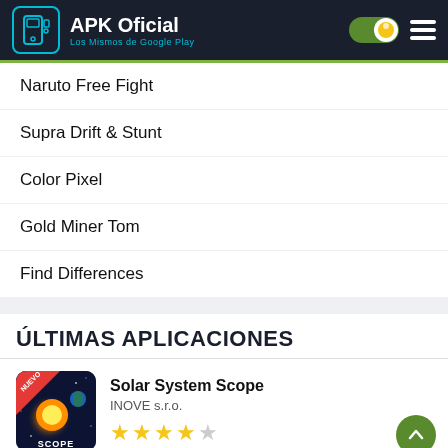APK Oficial — Los Mismos de Google Play
Naruto Free Fight
Supra Drift & Stunt
Color Pixel
Gold Miner Tom
Find Differences
ÚLTIMAS APLICACIONES
Solar System Scope
INOVE s.r.o.
★★★★☆
Funimation